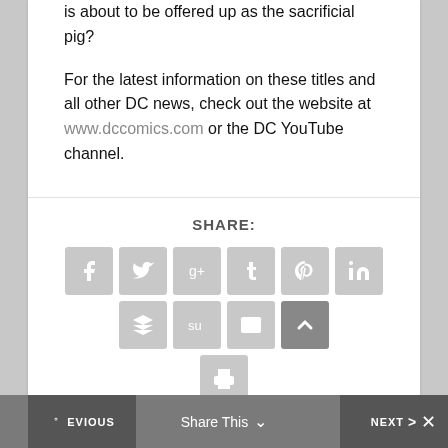is about to be offered up as the sacrificial pig?
For the latest information on these titles and all other DC news, check out the website at www.dccomics.com or the DC YouTube channel.
[Figure (infographic): Social share buttons: Facebook, Twitter, Google+, Tumblr, Pinterest, LinkedIn, Buffer, StumbleUpon, Email, scroll-up, and Print]
PREVIOUS | Share This | NEXT